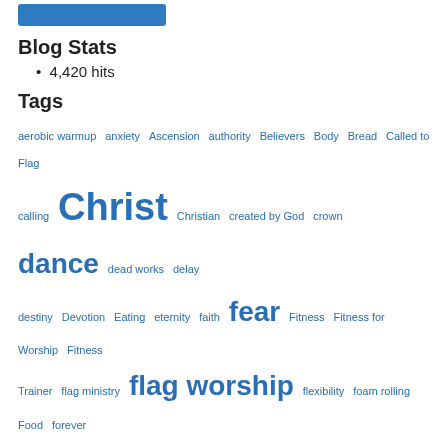[Figure (other): Blue button/bar at top]
Blog Stats
4,420 hits
Tags
aerobic warmup  anxiety  Ascension  authority  Believers  Body  Bread  Called to Flag  calling  Christ  Christian  created by God  crown  dance  dead works  delay  destiny  Devotion  Eating  eternity  faith  fear  Fitness  Fitness for Worship  Fitness Trainer  flag ministry  flag worship  flexibility  foam rolling  Food  forever  formed by God  gate  glory  God  God's masterpiece  God's Plan  God's workmanship  God is Worthy  guilt  Health  He knows my name  Holy Spirit  how to foam roll  Idols  Jesus  King  lamp  light  love  Mission  mobility  movement  muscle recovery  music  name  new creature  new life  Nutrition  oil  oil lamp  pain relief  planned  prayer  prevent injury  priesthood  Purification  purple  Purpose